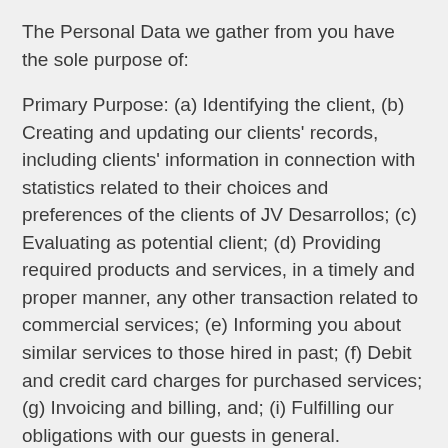The Personal Data we gather from you have the sole purpose of:
Primary Purpose: (a) Identifying the client, (b) Creating and updating our clients' records, including clients' information in connection with statistics related to their choices and preferences of the clients of JV Desarrollos; (c) Evaluating as potential client; (d) Providing required products and services, in a timely and proper manner, any other transaction related to commercial services; (e) Informing you about similar services to those hired in past; (f) Debit and credit card charges for purchased services; (g) Invoicing and billing, and; (i) Fulfilling our obligations with our guests in general.
Secondary Purpose: (a) Email advertising, (b) Informing about JV Desarrollos´ changes, gifts and/or special offers, (c) Evaluating the quality of JV Desarrollos'...